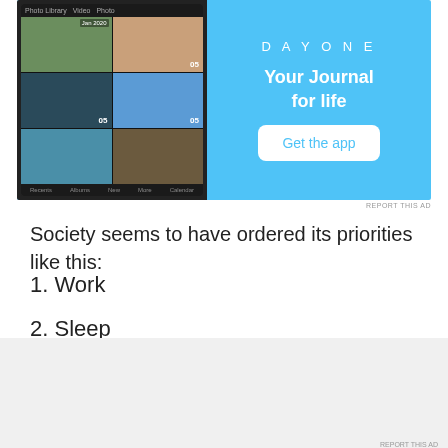[Figure (screenshot): DayOne app advertisement with blue background showing phone screenshot on left and 'Your Journal for life' text with 'Get the app' button on right]
Society seems to have ordered its priorities like this:
1. Work
2. Sleep
[Figure (screenshot): DuckDuckGo advertisement with orange background: 'Search, browse, and email with more privacy. All in One Free App' with DuckDuckGo logo on phone]